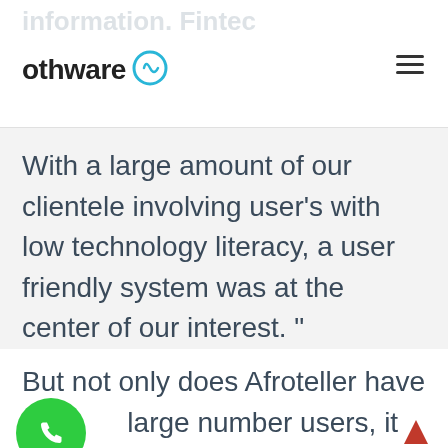othware [logo icon] ≡
With a large amount of our clientele involving user’s with low technology literacy, a user friendly system was at the center of our interest. ”
But not only does Afroteller have a large number users, it is also spread all over the country with it’s